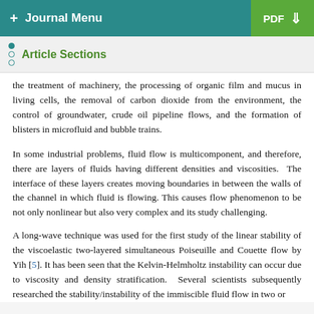+ Journal Menu   PDF ↓
Article Sections
the treatment of machinery, the processing of organic film and mucus in living cells, the removal of carbon dioxide from the environment, the control of groundwater, crude oil pipeline flows, and the formation of blisters in microfluid and bubble trains.
In some industrial problems, fluid flow is multicomponent, and therefore, there are layers of fluids having different densities and viscosities. The interface of these layers creates moving boundaries in between the walls of the channel in which fluid is flowing. This causes flow phenomenon to be not only nonlinear but also very complex and its study challenging.
A long-wave technique was used for the first study of the linear stability of the viscoelastic two-layered simultaneous Poiseuille and Couette flow by Yih [5]. It has been seen that the Kelvin-Helmholtz instability can occur due to viscosity and density stratification. Several scientists subsequently researched the stability/instability of the immiscible fluid flow in two or